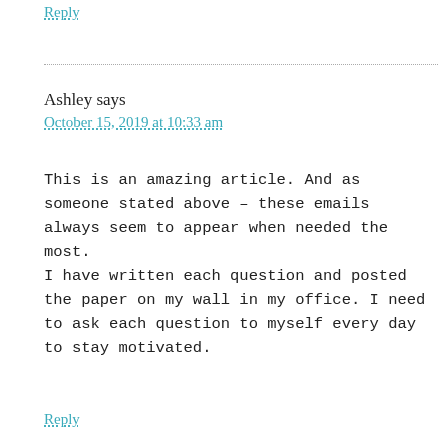Reply
Ashley says
October 15, 2019 at 10:33 am
This is an amazing article. And as someone stated above – these emails always seem to appear when needed the most.
I have written each question and posted the paper on my wall in my office. I need to ask each question to myself every day to stay motivated.
Reply